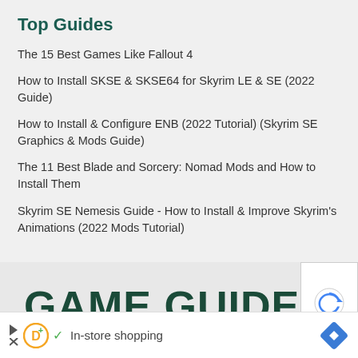Top Guides
The 15 Best Games Like Fallout 4
How to Install SKSE & SKSE64 for Skyrim LE & SE (2022 Guide)
How to Install & Configure ENB (2022 Tutorial) (Skyrim SE Graphics & Mods Guide)
The 11 Best Blade and Sorcery: Nomad Mods and How to Install Them
Skyrim SE Nemesis Guide - How to Install & Improve Skyrim's Animations (2022 Mods Tutorial)
GAME GUIDES
In-store shopping